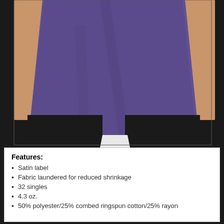[Figure (photo): Woman wearing a heather purple/violet loose-fit t-shirt with black leggings, cropped to show torso and hands]
Features:
Satin label
Fabric laundered for reduced shrinkage
32 singles
4.3 oz.
50% polyester/25% combed ringspun cotton/25% rayon